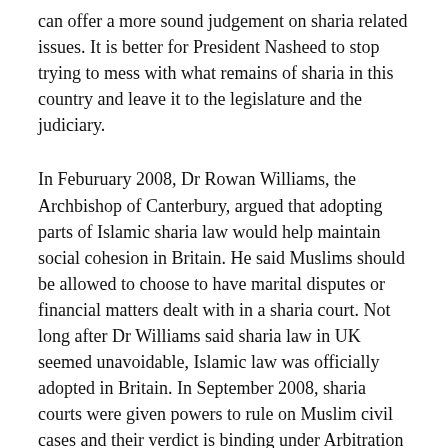can offer a more sound judgement on sharia related issues. It is better for President Nasheed to stop trying to mess with what remains of sharia in this country and leave it to the legislature and the judiciary.
In Feburuary 2008, Dr Rowan Williams, the Archbishop of Canterbury, argued that adopting parts of Islamic sharia law would help maintain social cohesion in Britain. He said Muslims should be allowed to choose to have marital disputes or financial matters dealt with in a sharia court. Not long after Dr Williams said sharia law in UK seemed unavoidable, Islamic law was officially adopted in Britain. In September 2008, sharia courts were given powers to rule on Muslim civil cases and their verdict is binding under Arbitration Act 1996. However, Muslims in Britain still have a long way to go for them to be able to enforce prescribed